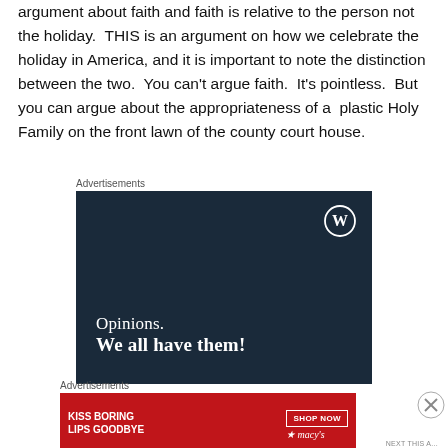argument about faith and faith is relative to the person not the holiday. THIS is an argument on how we celebrate the holiday in America, and it is important to note the distinction between the two. You can't argue faith. It's pointless. But you can argue about the appropriateness of a plastic Holy Family on the front lawn of the county court house.
[Figure (other): WordPress advertisement with dark navy background, WordPress logo (W in circle) top right, text 'Opinions. We all have them!' in white serif font]
[Figure (other): Macy's advertisement with red background showing 'KISS BORING LIPS GOODBYE' text, woman's face with red lips, SHOP NOW button, and Macy's star logo]